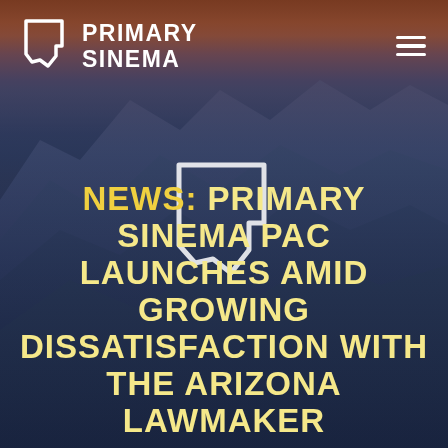[Figure (screenshot): Website screenshot of Primary Sinema PAC page with mountain background, Arizona state outline logo, hamburger menu, and news headline text]
PRIMARY SINEMA
NEWS: PRIMARY SINEMA PAC LAUNCHES AMID GROWING DISSATISFACTION WITH THE ARIZONA LAWMAKER